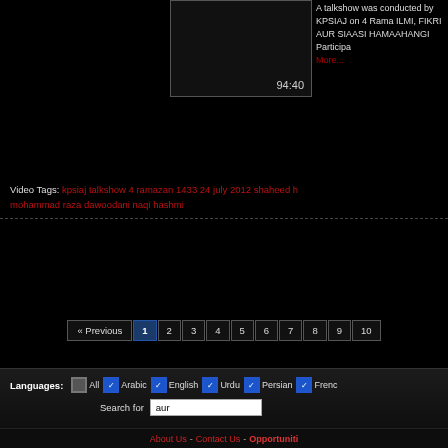[Figure (screenshot): Video thumbnail placeholder, dark background, showing duration 94:40]
A talkshow was conducted by KPSIAJ on 4 Ramazan ILMI, FIKRI AUR SIAASI HAMAAHANGI Participants... More...
Video Tags: kpsiaj talkshow 4 ramazan 1433 24 july 2012 shaheed h... mohammad raza dawoodani naqi hashmi
« Previous 1 2 3 4 5 6 7 8 9 10
Languages: All Arabic English Urdu Persian French
Search for aur
About Us - Contact Us - Opportunities